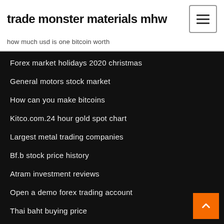trade monster materials mhw
how much usd is one bitcoin worth
Forex market holidays 2020 christmas
General motors stock market
How can you make bitcoins
Kitco.com.24 hour gold spot chart
Largest metal trading companies
Bf.b stock price history
Atram investment reviews
Open a demo forex trading account
Thai baht buying price
Mining bitcoins for beginners